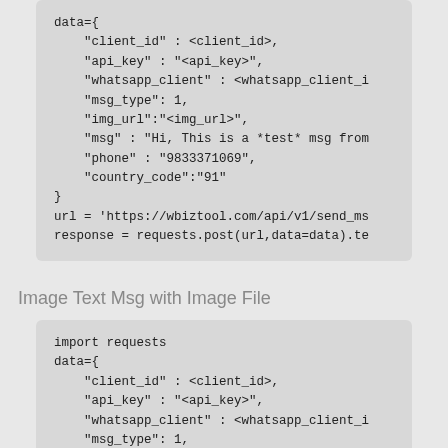data={
    "client_id" : <client_id>,
    "api_key" : "<api_key>",
    "whatsapp_client" : <whatsapp_client_i
    "msg_type": 1,
    "img_url":"<img_url>",
    "msg" : "Hi, This is a *test* msg from
    "phone" : "9833371069",
    "country_code":"91"
}
url = 'https://wbiztool.com/api/v1/send_ms
response = requests.post(url,data=data).te
Image Text Msg with Image File
import requests
data={
    "client_id" : <client_id>,
    "api_key" : "<api_key>",
    "whatsapp_client" : <whatsapp_client_i
    "msg_type": 1,